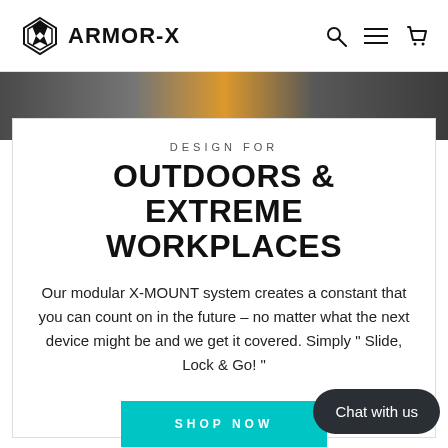ARMOR-X
[Figure (photo): Strip of outdoor/workplace imagery showing construction equipment and workers]
DESIGN FOR
OUTDOORS & EXTREME WORKPLACES
Our modular X-MOUNT system creates a constant that you can count on in the future – no matter what the next device might be and we get it covered. Simply " Slide, Lock & Go! "
SHOP NOW
Chat with us